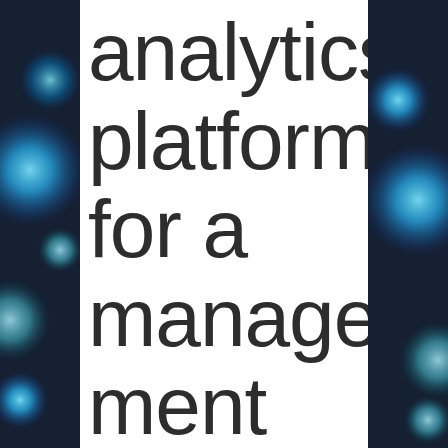[Figure (photo): Blurred bokeh background with blue glowing circles/orbs visible on the left and right sides of the image, dark teal/navy background with bright cyan highlights]
analytics platform for a management consulting